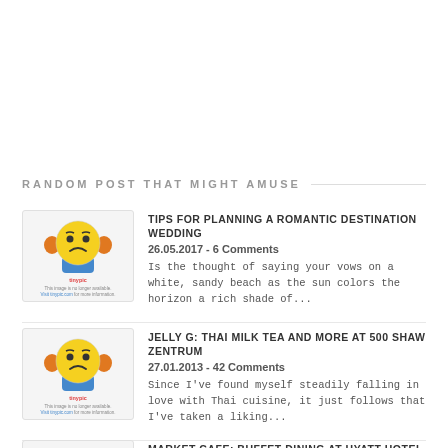RANDOM POST THAT MIGHT AMUSE
[Figure (illustration): Sad face cartoon image placeholder for Tips for Planning a Romantic Destination Wedding post]
TIPS FOR PLANNING A ROMANTIC DESTINATION WEDDING
26.05.2017 - 6 Comments
Is the thought of saying your vows on a white, sandy beach as the sun colors the horizon a rich shade of...
[Figure (illustration): Sad face cartoon image placeholder for Jelly G Thai Milk Tea post]
JELLY G: THAI MILK TEA AND MORE AT 500 SHAW ZENTRUM
27.01.2013 - 42 Comments
Since I've found myself steadily falling in love with Thai cuisine, it just follows that I've taken a liking...
[Figure (illustration): Sad face cartoon image placeholder for Market Cafe Buffet Dining post]
MARKET CAFE: BUFFET DINING AT HYATT HOTEL
17.03.2012 - 62 Comments
After a series of buffet dining last year, my date and I